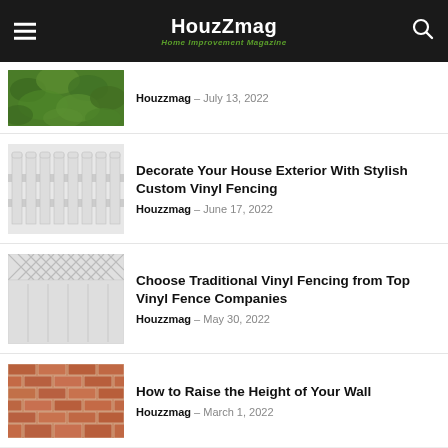HouzZmag – Home Improvement Magazine
[Figure (photo): Green leaves garden photo thumbnail]
Houzzmag – July 13, 2022
[Figure (photo): White vinyl picket fence thumbnail]
Decorate Your House Exterior With Stylish Custom Vinyl Fencing
Houzzmag – June 17, 2022
[Figure (photo): White traditional vinyl privacy fence panel thumbnail]
Choose Traditional Vinyl Fencing from Top Vinyl Fence Companies
Houzzmag – May 30, 2022
[Figure (photo): Red brick wall texture thumbnail]
How to Raise the Height of Your Wall
Houzzmag – March 1, 2022